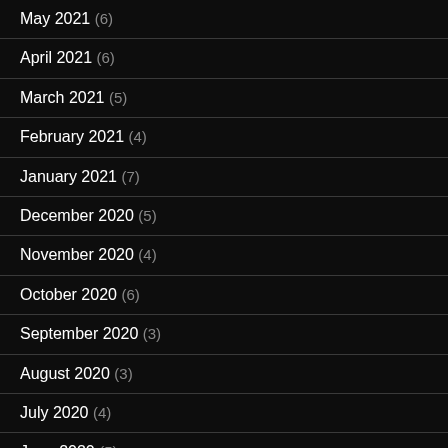May 2021 (6)
April 2021 (6)
March 2021 (5)
February 2021 (4)
January 2021 (7)
December 2020 (5)
November 2020 (4)
October 2020 (6)
September 2020 (3)
August 2020 (3)
July 2020 (4)
June 2020 (5)
May 2020 (1)